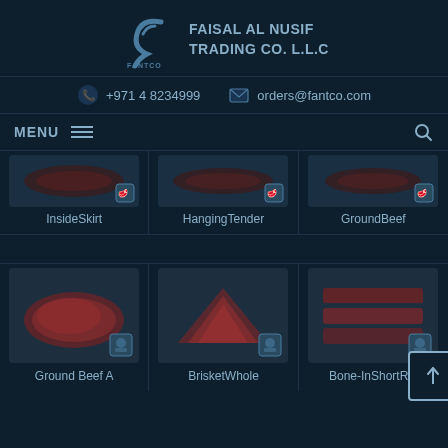FAISAL AL NUSIF TRADING CO. L.L.C
+971 4 8234999   orders@fantco.com
MENU
[Figure (photo): Product grid showing InsideSkirt, HangingTender, GroundBeef (top row, partially visible), Ground Beef A, BrisketWhole, Bone-InShortRib (bottom row) meat products on dark navy background]
InsideSkirt
HangingTender
GroundBeef
Ground Beef A
BrisketWhole
Bone-InShortRib